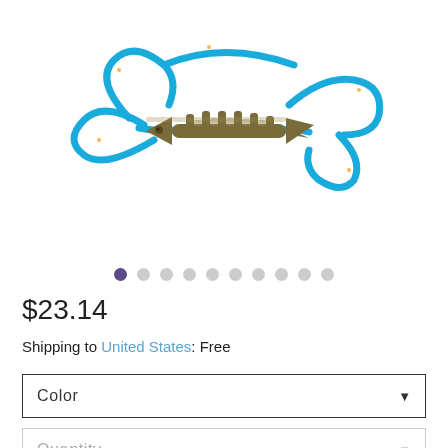[Figure (photo): A bracelet made of blue paracord with orange and white speckles, featuring a bronze/antique gold fishbone-shaped charm in the center, displayed on a white background.]
• • • • • • • • • • (image navigation dots, first dot active)
$23.14
Shipping to United States: Free
Color (dropdown)
Quantity (dropdown)